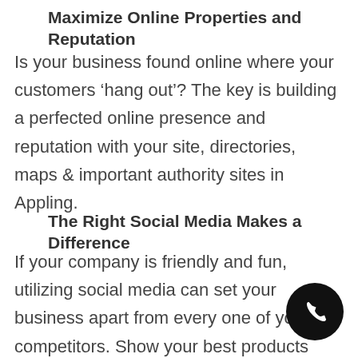Maximize Online Properties and Reputation
Is your business found online where your customers ‘hang out’? The key is building a perfected online presence and reputation with your site, directories, maps & important authority sites in Appling.
The Right Social Media Makes a Difference
If your company is friendly and fun, utilizing social media can set your business apart from every one of your competitors. Show your best products